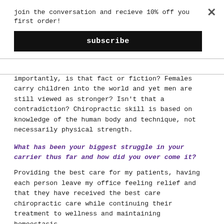join the conversation and recieve 10% off you first order!
subscribe
importantly, is that fact or fiction? Females carry children into the world and yet men are still viewed as stronger? Isn't that a contradiction? Chiropractic skill is based on knowledge of the human body and technique, not necessarily physical strength.
What has been your biggest struggle in your carrier thus far and how did you over come it?
Providing the best care for my patients, having each person leave my office feeling relief and that they have received the best care chiropractic care while continuing their treatment to wellness and maintaining homeostasis.